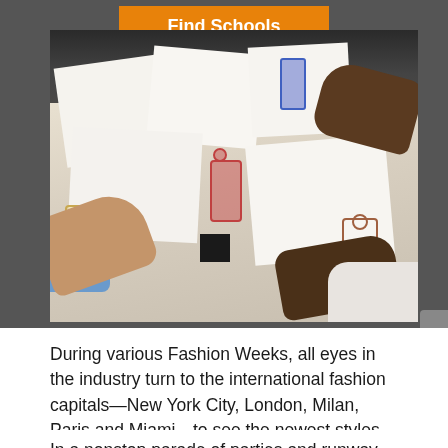[Figure (photo): People reviewing fashion design sketches spread on a table, hands visible pointing at illustrated fashion figures on white papers]
During various Fashion Weeks, all eyes in the industry turn to the international fashion capitals—New York City, London, Milan, Paris and Miami—to see the newest styles.
In a nonstop parade of parties and runway